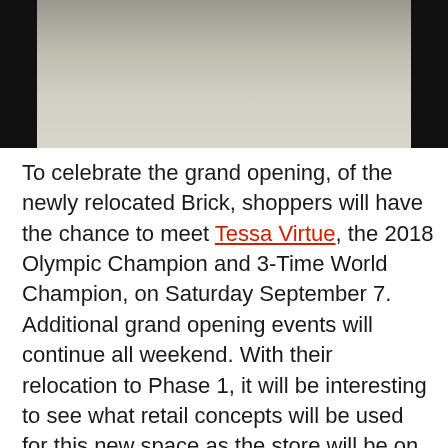[Figure (photo): Interior photo of a store floor, showing light-colored tile flooring with dark border framing at top]
To celebrate the grand opening, of the newly relocated Brick, shoppers will have the chance to meet Tessa Virtue, the 2018 Olympic Champion and 3-Time World Champion, on Saturday September 7. Additional grand opening events will continue all weekend. With their relocation to Phase 1, it will be interesting to see what retail concepts will be used for this new space as the store will be on the second level. The footprint of the Brick store has also been evolving during the renovation. It does not appear that The Brick will be occupying the entire second floor footprint of the former